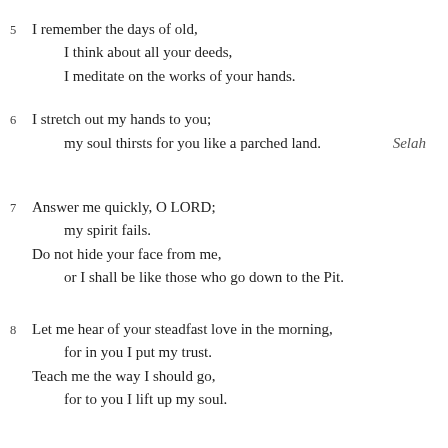5 I remember the days of old, I think about all your deeds, I meditate on the works of your hands.
6 I stretch out my hands to you; my soul thirsts for you like a parched land. Selah
7 Answer me quickly, O LORD; my spirit fails. Do not hide your face from me, or I shall be like those who go down to the Pit.
8 Let me hear of your steadfast love in the morning, for in you I put my trust. Teach me the way I should go, for to you I lift up my soul.